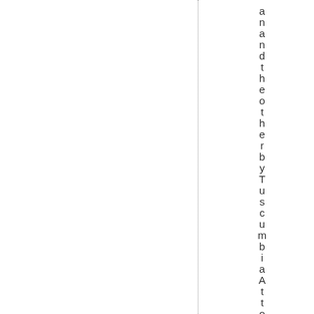and the other by Tuscumbia Attorney